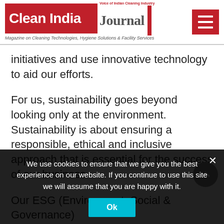[Figure (logo): Clean India Journal logo with red background, magazine tagline, and hamburger menu button]
initiatives and use innovative technology to aid our efforts.
For us, sustainability goes beyond looking only at the environment. Sustainability is about ensuring a responsible, ethical and inclusive approach that is essential for the success of our business.
Our ESG (Environment, Social & Governance)
We use cookies to ensure that we give you the best experience on our website. If you continue to use this site we will assume that you are happy with it.